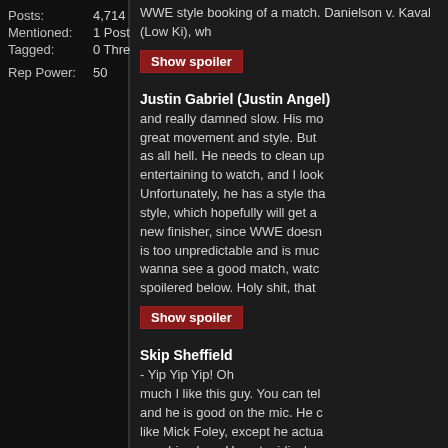Posts: 4,714
Mentioned: 1 Post(s)
Tagged: 0 Thread(s)
Rep Power: 50
WWE style booking of a match. Danielson v. Kaval (Low Ki), wh
Show spoiler
Justin Gabriel (Justin Angel)
and really damned slow. His mo great movement and style. But as all hell. He needs to clean up entertaining to watch, and I look Unfortunately, he has a style tha style, which hopefully will get a new finisher, since WWE doesn is too unpredictable and is muc wanna see a good match, watc spoilered below. Holy shit, that
Show spoiler
Skip Sheffield
- Yip Yip Yip! Oh much I like this guy. You can tel and he is good on the mic. He c like Mick Foley, except he actua punching bag. He cuts ridiculou matches I've watched so far, an are really fucking good. The cro is going to be a good place for h to be below after I talk about his